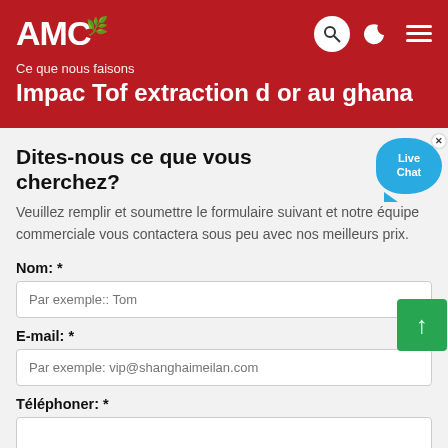AMC
Ce que nous faisons
Impac Tof extraction d or au ghana
Dites-nous ce que vous cherchez?
Veuillez remplir et soumettre le formulaire suivant et notre équipe commerciale vous contactera sous peu avec nos meilleurs prix.
Nom: *
Par exemple:: Tom
E-mail: *
Par exemple: vip@shanghaimeilan.com
Téléphoner: *